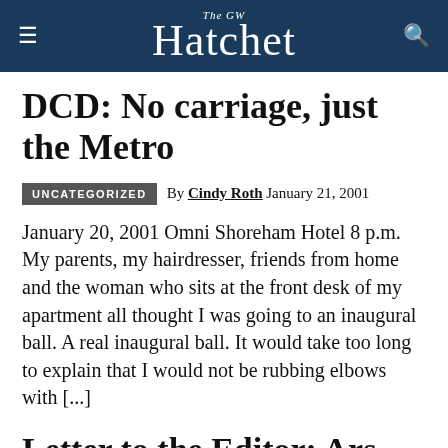The GW Hatchet
DCD: No carriage, just the Metro
UNCATEGORIZED  By Cindy Roth  January 21, 2001
January 20, 2001 Omni Shoreham Hotel 8 p.m. My parents, my hairdresser, friends from home and the woman who sits at the front desk of my apartment all thought I was going to an inaugural ball. A real inaugural ball. It would take too long to explain that I would not be rubbing elbows with [...]
Letter to the Editor: Ars electronica